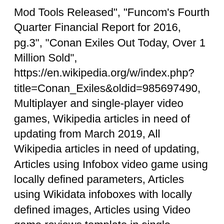Mod Tools Released", "Funcom's Fourth Quarter Financial Report for 2016, pg.3", "Conan Exiles Out Today, Over 1 Million Sold", https://en.wikipedia.org/w/index.php?title=Conan_Exiles&oldid=985697490, Multiplayer and single-player video games, Wikipedia articles in need of updating from March 2019, All Wikipedia articles in need of updating, Articles using Infobox video game using locally defined parameters, Articles using Wikidata infoboxes with locally defined images, Articles using Video game reviews template in single platform mode, Official website different in Wikidata and Wikipedia, Creative Commons Attribution-ShareAlike License, This page was last edited on 27 October 2020, at 12:29. Near the end of the war, humans revealed a new weapon, forged of science, smashing through troops and encasing the survivors in stone. But the power source seems to be missing. Beating